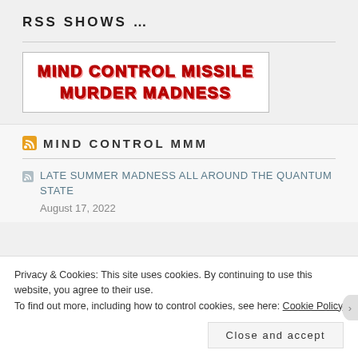RSS SHOWS …
[Figure (logo): Mind Control Missile Murder Madness logo — red bold text on white background]
MIND CONTROL MMM
LATE SUMMER MADNESS ALL AROUND THE QUANTUM STATE
August 17, 2022
Privacy & Cookies: This site uses cookies. By continuing to use this website, you agree to their use.
To find out more, including how to control cookies, see here: Cookie Policy
Close and accept